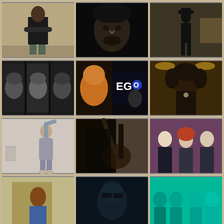[Figure (photo): Black man in black t-shirt and camo pants standing against a wall with arms crossed]
[Figure (photo): Close-up portrait of a man with long dark hair and beard in black and white]
[Figure (photo): Silhouette of a person in a hat standing in a dimly lit parking garage]
[Figure (photo): Three men's faces in black and white portrait grid]
[Figure (photo): EGO promotional image showing a woman with golden face paint and a man in dark background]
[Figure (photo): Woman with long curly hair in a dimly lit venue with warm yellow lighting]
[Figure (photo): Woman in a grey jumpsuit posing with arm raised against a white wall]
[Figure (photo): Dark silhouette of a person playing guitar]
[Figure (photo): Three people standing together - a band photo with purple/mauve background]
[Figure (photo): Partial view of a person in colorful clothing]
[Figure (photo): Person with sunglasses in dark/teal toned photo]
[Figure (photo): Group of four people in teal/cyan toned photo]